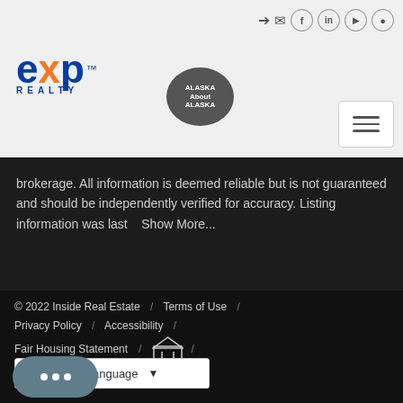[Figure (logo): eXp Realty logo with blue and orange lettering, and an Alaska-themed secondary logo]
brokerage. All information is deemed reliable but is not guaranteed and should be independently verified for accuracy. Listing information was last   Show More...
© 2022 Inside Real Estate  /  Terms of Use  /  Privacy Policy  /  Accessibility  /  Fair Housing Statement  /  [Equal Housing Logo] /
[Figure (screenshot): Google Translate widget: Select Language dropdown]
[Figure (other): Chat bubble button with three dots]